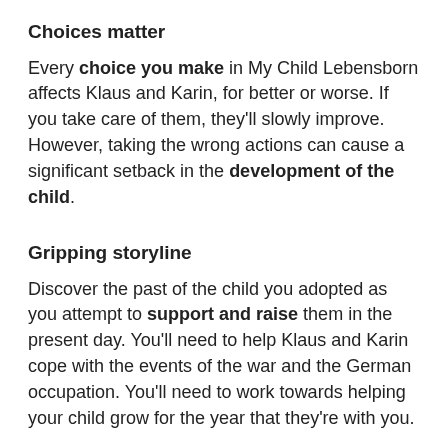Choices matter
Every choice you make in My Child Lebensborn affects Klaus and Karin, for better or worse. If you take care of them, they'll slowly improve. However, taking the wrong actions can cause a significant setback in the development of the child.
Gripping storyline
Discover the past of the child you adopted as you attempt to support and raise them in the present day. You'll need to help Klaus and Karin cope with the events of the war and the German occupation. You'll need to work towards helping your child grow for the year that they're with you.
Continuing down the path of care, you'll learn how hate for enemies can only create more victims. You'll also see the child's history, the bullying that happens and more. The story is inspired by the accurate tale of many